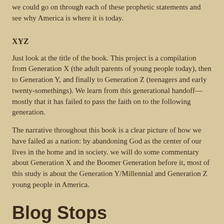we could go on through each of these prophetic statements and see why America is where it is today.
XYZ
Just look at the title of the book. This project is a compilation from Generation X (the adult parents of young people today), then to Generation Y, and finally to Generation Z (teenagers and early twenty-somethings). We learn from this generational handoff—mostly that it has failed to pass the faith on to the following generation.
The narrative throughout this book is a clear picture of how we have failed as a nation: by abandoning God as the center of our lives in the home and in society. While we will do some commentary about Generation X and the Boomer Generation before it, most of this study is about the Generation Y/Millennial and Generation Z young people in America.
Blog Stops
Debbie's Dusty Deliberations, February 6